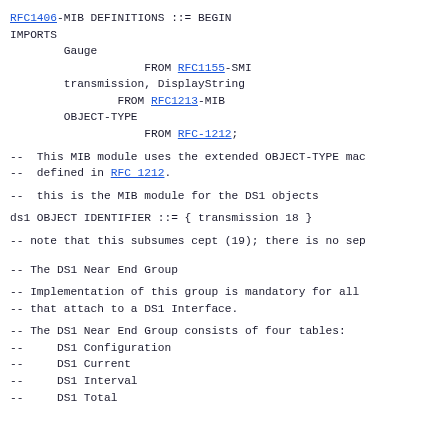RFC1406-MIB DEFINITIONS ::= BEGIN
IMPORTS
        Gauge
                    FROM RFC1155-SMI
        transmission, DisplayString
                FROM RFC1213-MIB
        OBJECT-TYPE
                    FROM RFC-1212;
--  This MIB module uses the extended OBJECT-TYPE mac
--  defined in RFC 1212.
--  this is the MIB module for the DS1 objects
ds1 OBJECT IDENTIFIER ::= { transmission 18 }
-- note that this subsumes cept (19); there is no sep
-- The DS1 Near End Group
-- Implementation of this group is mandatory for all
-- that attach to a DS1 Interface.
-- The DS1 Near End Group consists of four tables:
--     DS1 Configuration
--     DS1 Current
--     DS1 Interval
--     DS1 Total